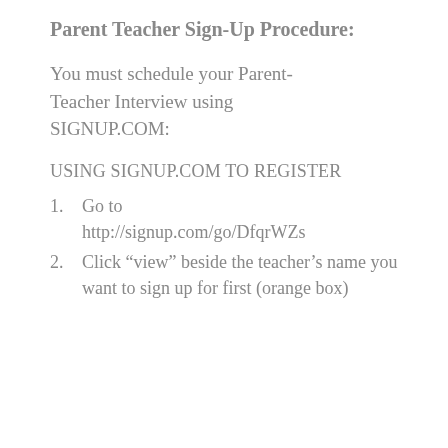Parent Teacher Sign-Up Procedure:
You must schedule your Parent-Teacher Interview using SIGNUP.COM:
USING SIGNUP.COM TO REGISTER
Go to http://signup.com/go/DfqrWZs
Click “view” beside the teacher’s name you want to sign up for first (orange box)